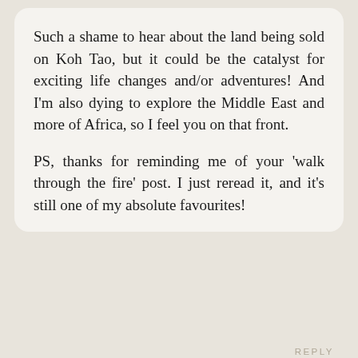Such a shame to hear about the land being sold on Koh Tao, but it could be the catalyst for exciting life changes and/or adventures! And I'm also dying to explore the Middle East and more of Africa, so I feel you on that front.

PS, thanks for reminding me of your 'walk through the fire' post. I just reread it, and it's still one of my absolute favourites!
REPLY
[Figure (photo): Circular avatar photo of a blonde woman named Alex]
Alex
July 24 2017
Indeed, I feel some exciting changes are coming. Change is alway...